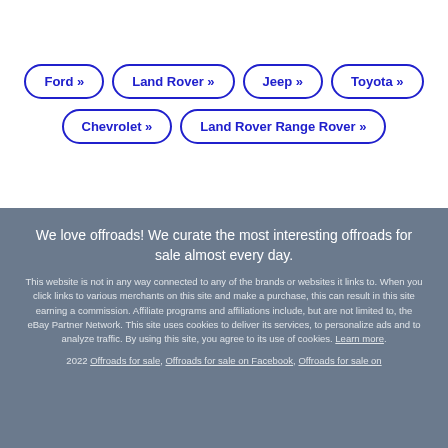Ford »
Land Rover »
Jeep »
Toyota »
Chevrolet »
Land Rover Range Rover »
We love offroads! We curate the most interesting offroads for sale almost every day.
This website is not in any way connected to any of the brands or websites it links to. When you click links to various merchants on this site and make a purchase, this can result in this site earning a commission. Affiliate programs and affiliations include, but are not limited to, the eBay Partner Network. This site uses cookies to deliver its services, to personalize ads and to analyze traffic. By using this site, you agree to its use of cookies. Learn more.
2022 Offroads for sale, Offroads for sale on Facebook, Offroads for sale on